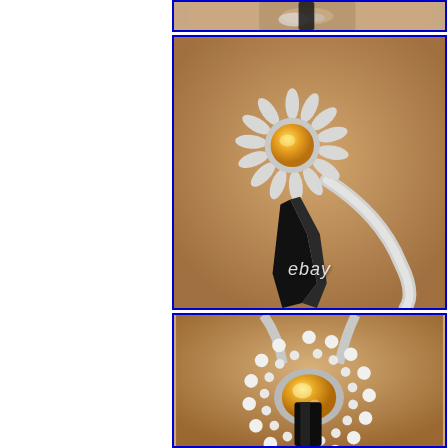[Figure (photo): Top partial crop of silver flower-shaped ring with yellow citrine center stone, held by jewelry pliers, brown background]
[Figure (photo): Silver sunflower/daisy-shaped ring with yellow citrine oval center stone, shown from side angle held by black jewelry pliers, warm brown background, eBay watermark at bottom]
[Figure (photo): Close-up frontal view of silver ring with large oval yellow citrine center stone surrounded by double halo of round white diamonds, held by black jewelry pliers, warm brown background]